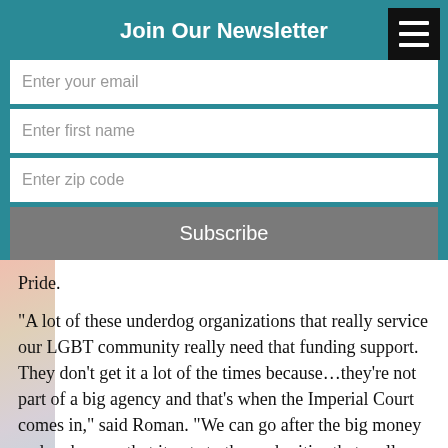Join Our Newsletter
Enter your email
Enter first name
Enter zip code
Subscribe
Pride.
“A lot of these underdog organizations that really service our LGBT community really need that funding support. They don’t get it a lot of the times because…they’re not part of a big agency and that’s when the Imperial Court comes in,” said Roman. “We can go after the big money and make sure that it gets to those charities that really need it.”